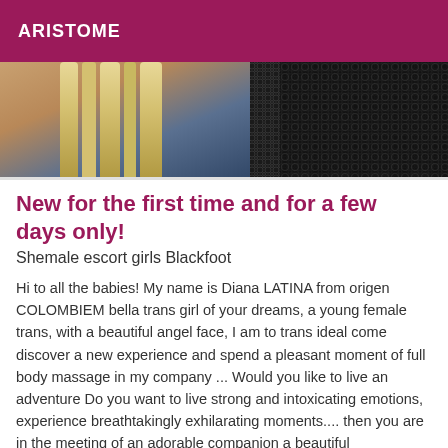ARISTOME
[Figure (photo): Close-up photo of a person with blonde hair wearing black lace and fishnet clothing]
New for the first time and for a few days only!
Shemale escort girls Blackfoot
Hi to all the babies! My name is Diana LATINA from origen COLOMBIEM bella trans girl of your dreams, a young female trans, with a beautiful angel face, I am to trans ideal come discover a new experience and spend a pleasant moment of full body massage in my company ... Would you like to live an adventure Do you want to live strong and intoxicating emotions, experience breathtakingly exhilarating moments.... then you are in the meeting of an adorable companion a beautiful independent girl..... Sublime beauty, delicious, beautiful,